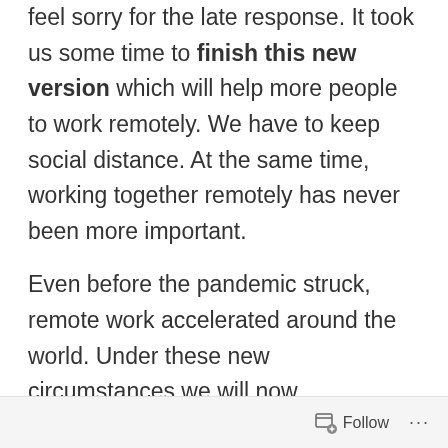feel sorry for the late response. It took us some time to finish this new version which will help more people to work remotely. We have to keep social distance. At the same time, working together remotely has never been more important.

Even before the pandemic struck, remote work accelerated around the world. Under these new circumstances we will now
Follow ...